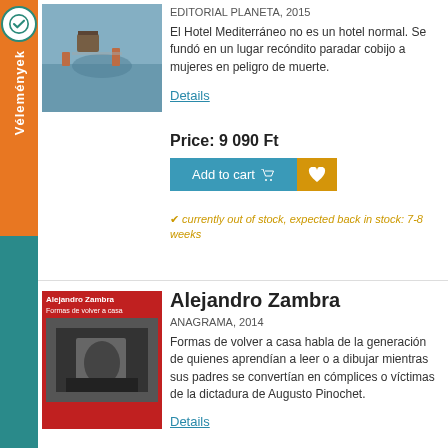[Figure (photo): Book cover with surreal outdoor scene for first listing]
EDITORIAL PLANETA, 2015
El Hotel Mediterráneo no es un hotel normal. Se fundó en un lugar recóndito paradar cobijo a mujeres en peligro de muerte.
Details
Price: 9 090 Ft
Add to cart
currently out of stock, expected back in stock: 7-8 weeks
[Figure (photo): Red book cover of Alejandro Zambra - Formas de volver a casa]
Alejandro Zambra
ANAGRAMA, 2014
Formas de volver a casa habla de la generación de quienes aprendían a leer o a dibujar mientras sus padres se convertían en cómplices o víctimas de la dictadura de Augusto Pinochet.
Details
Price: 5 350 Ft
Add to cart